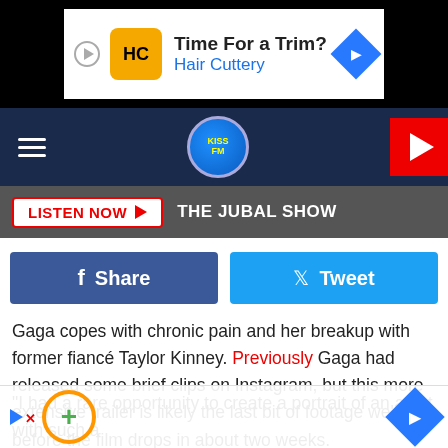[Figure (screenshot): Advertisement banner: Hair Cuttery 'Time For a Trim?' ad with yellow logo, play button, and navigation arrow]
[Figure (screenshot): Radio station navigation bar with hamburger menu, KISSFM logo, and red play button]
[Figure (screenshot): Listen Now button bar with THE JUBAL SHOW text]
[Figure (screenshot): Facebook Share and Twitter Tweet social buttons]
Gaga copes with chronic pain and her breakup with former fiancé Taylor Kinney. Previously Gaga had released some brief clips on Instagram, but this more extensive trailer is likely the last bit of footage we'll get before the film drops in about two weeks.
"I had a rare opportunity to create a portrait of an artist with such a                                                                    ga trusted                                                            Chris
[Figure (screenshot): Bottom advertisement overlay with orange circle plus icon and blue navigation arrow]